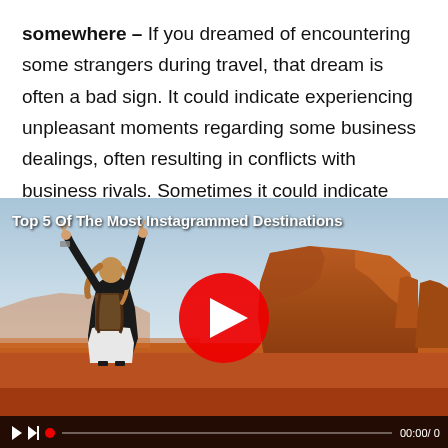somewhere – If you dreamed of encountering some strangers during travel, that dream is often a bad sign. It could indicate experiencing unpleasant moments regarding some business dealings, often resulting in conflicts with business rivals. Sometimes it could indicate
[Figure (screenshot): Video thumbnail showing a woman with backpack raising hands at Monument Valley red rock formations. Overlay text: 'Top 5 Of The Most Instagrammed Destinations'. Large red circular play button in center. Video controls bar at bottom showing play icon, next icon, red dot, progress bar, and timestamp '00:00 / 0'.]